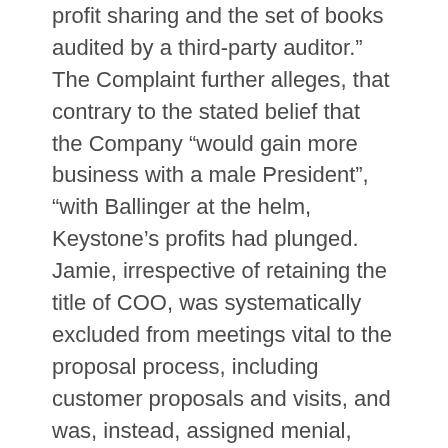profit sharing and the set of books audited by a third-party auditor.” The Complaint further alleges, that contrary to the stated belief that the Company “would gain more business with a male President”, “with Ballinger at the helm, Keystone’s profits had plunged. Jamie, irrespective of retaining the title of COO, was systematically excluded from meetings vital to the proposal process, including customer proposals and visits, and was, instead, assigned menial, demeaning duties by Bushell and Ballinger.” The Complaint goes on to allege that the “campaign to oust Jamie from Keystone so the ‘face’ of the company would be a man